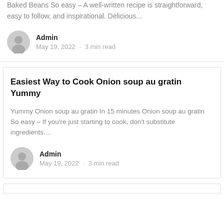Baked Beans So easy – A well-written recipe is straightforward, easy to follow, and inspirational. Delicious...
Admin
May 19, 2022 · 3 min read
Easiest Way to Cook Onion soup au gratin Yummy
Yummy Onion soup au gratin In 15 minutes Onion soup au gratin So easy – If you're just starting to cook, don't substitute ingredients....
Admin
May 19, 2022 · 3 min read